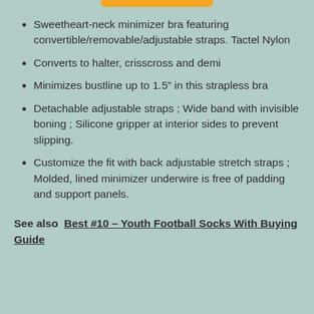Sweetheart-neck minimizer bra featuring convertible/removable/adjustable straps. Tactel Nylon
Converts to halter, crisscross and demi
Minimizes bustline up to 1.5” in this strapless bra
Detachable adjustable straps ; Wide band with invisible boning ; Silicone gripper at interior sides to prevent slipping.
Customize the fit with back adjustable stretch straps ; Molded, lined minimizer underwire is free of padding and support panels.
See also  Best #10 – Youth Football Socks With Buying Guide